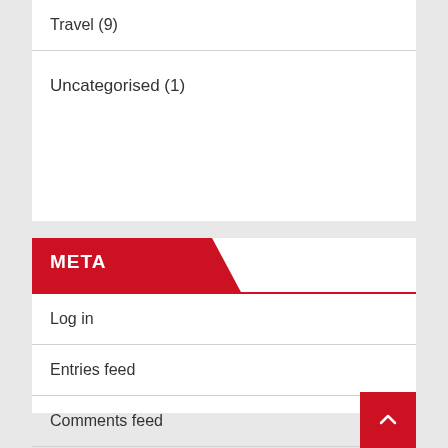Travel (9)
Uncategorised (1)
META
Log in
Entries feed
Comments feed
WordPress.org